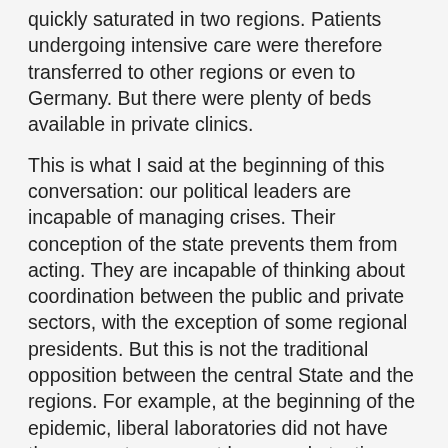quickly saturated in two regions. Patients undergoing intensive care were therefore transferred to other regions or even to Germany. But there were plenty of beds available in private clinics.
This is what I said at the beginning of this conversation: our political leaders are incapable of managing crises. Their conception of the state prevents them from acting. They are incapable of thinking about coordination between the public and private sectors, with the exception of some regional presidents. But this is not the traditional opposition between the central State and the regions. For example, at the beginning of the epidemic, liberal laboratories did not have the means to carry out large-scale testing. The government was not able to requisition the laboratories of the ministries of research and especially of agriculture in response to the public health emergency. Yet researchers and veterinarians kept offering their services.
Okay for the hospitals and the tests, but you